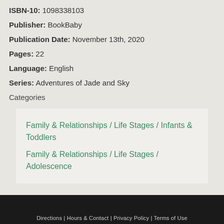ISBN-10: 1098338103
Publisher: BookBaby
Publication Date: November 13th, 2020
Pages: 22
Language: English
Series: Adventures of Jade and Sky
Categories
Family & Relationships / Life Stages / Infants & Toddlers
Family & Relationships / Life Stages / Adolescence
Directions | Hours & Contact | Privacy Policy | Terms of Use